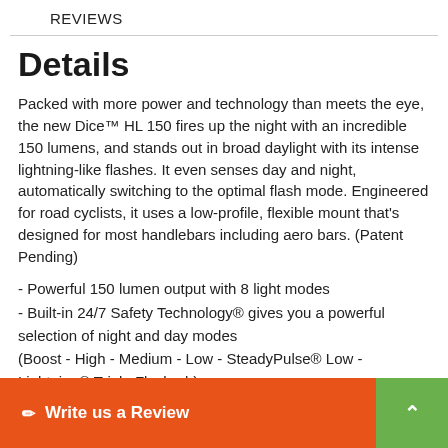REVIEWS
Details
Packed with more power and technology than meets the eye, the new Dice™ HL 150 fires up the night with an incredible 150 lumens, and stands out in broad daylight with its intense lightning-like flashes. It even senses day and night, automatically switching to the optimal flash mode. Engineered for road cyclists, it uses a low-profile, flexible mount that's designed for most handlebars including aero bars. (Patent Pending)
- Powerful 150 lumen output with 8 light modes
- Built-in 24/7 Safety Technology® gives you a powerful selection of night and day modes
(Boost - High - Medium - Low - SteadyPulse® Low - Lightning® Triple Flash - h)